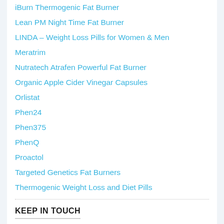iBurn Thermogenic Fat Burner
Lean PM Night Time Fat Burner
LINDA – Weight Loss Pills for Women & Men
Meratrim
Nutratech Atrafen Powerful Fat Burner
Organic Apple Cider Vinegar Capsules
Orlistat
Phen24
Phen375
PhenQ
Proactol
Targeted Genetics Fat Burners
Thermogenic Weight Loss and Diet Pills
KEEP IN TOUCH
[Figure (infographic): Row of social media icons: Facebook (blue), Twitter (light blue), Google+ (red), YouTube (white/grey), Pinterest (red), Instagram (brown/tan), RSS (orange)]